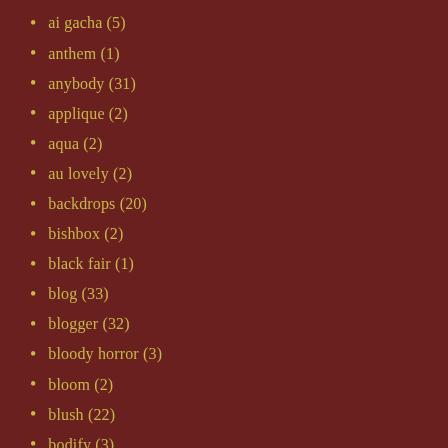ai gacha (5)
anthem (1)
anybody (31)
applique (2)
aqua (2)
au lovely (2)
backdrops (20)
bishbox (2)
black fair (1)
blog (33)
blogger (32)
bloody horror (3)
bloom (2)
blush (22)
bodify (3)
bon voyage (4)
bound box (3)